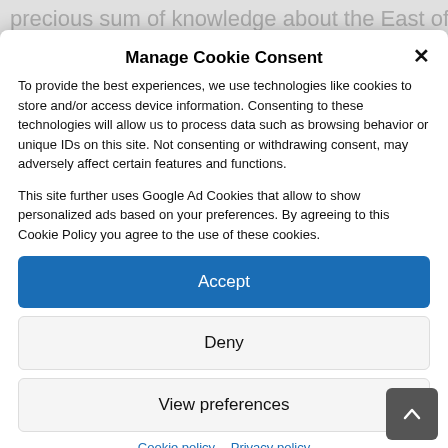precious sum of knowledge about the East of the 17th
Manage Cookie Consent
To provide the best experiences, we use technologies like cookies to store and/or access device information. Consenting to these technologies will allow us to process data such as browsing behavior or unique IDs on this site. Not consenting or withdrawing consent, may adversely affect certain features and functions.
This site further uses Google Ad Cookies that allow to show personalized ads based on your preferences. By agreeing to this Cookie Policy you agree to the use of these cookies.
Accept
Deny
View preferences
Cookie policy   Privacy policy